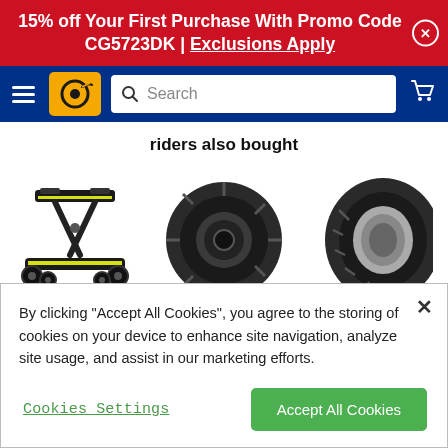15% off Your First Purchase With Promo Code CG5723DK | Exclusions Apply
[Figure (screenshot): Navy blue navigation bar with hamburger menu, yellow logo with tire icon, search bar, and shopping cart icon]
riders also bought
[Figure (photo): Three product images: a black and yellow motorcycle jack stand on the left, a dark grey motorcycle tire in the center, and a motorcycle rear tire on the right]
By clicking "Accept All Cookies", you agree to the storing of cookies on your device to enhance site navigation, analyze site usage, and assist in our marketing efforts.
Cookies Settings | Accept All Cookies